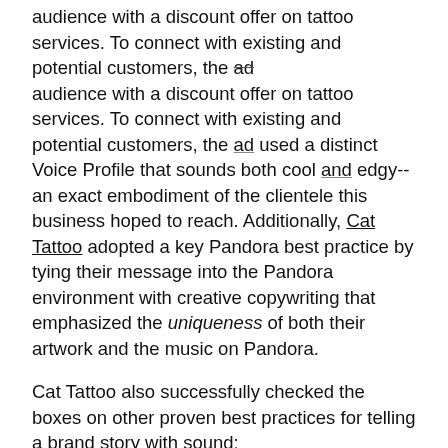audience with a discount offer on tattoo services. To connect with existing and potential customers, the ad used a distinct Voice Profile that sounds both cool and edgy--an exact embodiment of the clientele this business hoped to reach. Additionally, Cat Tattoo adopted a key Pandora best practice by tying their message into the Pandora environment with creative copywriting that emphasized the uniqueness of both their artwork and the music on Pandora.
Cat Tattoo also successfully checked the boxes on other proven best practices for telling a brand story with sound:
1. USE A CONVERSATIONAL TONE Most audio is consumed through earbuds, so there is no need to shout anymore. Consumers will appreciate you more for speaking to them like you would a friend.
2. ADDRESS THE INDIVIDUAL LISTENER Digital audio allows brands to reach millions of people, one listener at a time. So make it personal! A natural